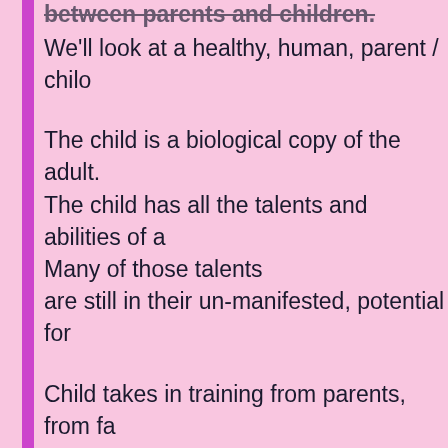between parents and children.
We'll look at a healthy, human, parent / child...
The child is a biological copy of the adult.
The child has all the talents and abilities of a...
Many of those talents
are still in their un-manifested, potential for...
Child takes in training from parents, from fa...
and from the surrounding social structure.
(i.e.  from the context that the child was bor...
There is much giving and receiving of Llove...
Parent is protector, care giver, teacher, guide...
Child is in training to become an adult.
Adult is expressing the principle called Pay...
Child is expressing the attitude of gratitude...